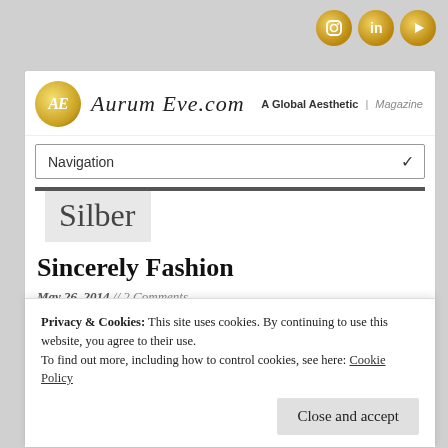[Figure (illustration): Three golden circular social media icons (Instagram, LinkedIn, YouTube) in the top right corner]
[Figure (logo): AurumEve.com logo with golden circular AE emblem and italic script site name, tagline 'A Global Aesthetic | Magazine']
Navigation
Silber
Sincerely Fashion
May 26, 2014 // 2 Comments
Privacy & Cookies: This site uses cookies. By continuing to use this website, you agree to their use.
To find out more, including how to control cookies, see here: Cookie Policy
Close and accept